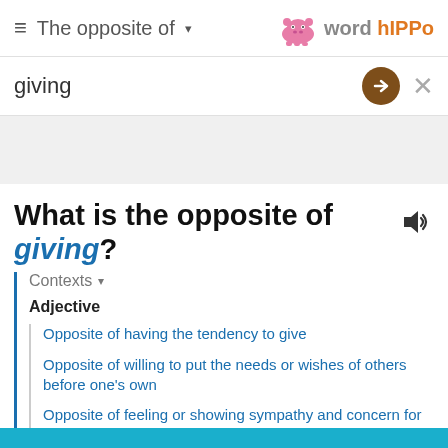≡ The opposite of ▾  word hIPPo
giving
What is the opposite of giving?
Contexts ▾
Adjective
Opposite of having the tendency to give
Opposite of willing to put the needs or wishes of others before one's own
Opposite of feeling or showing sympathy and concern for others
… more ▾